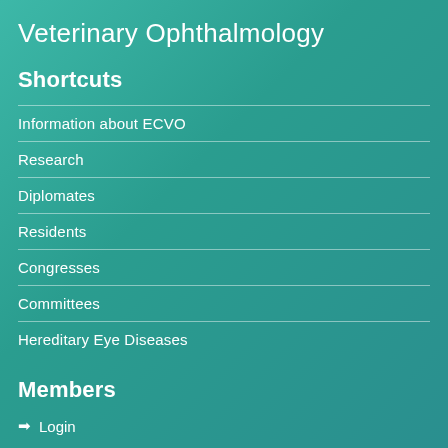Veterinary Ophthalmology
Shortcuts
Information about ECVO
Research
Diplomates
Residents
Congresses
Committees
Hereditary Eye Diseases
Members
Login